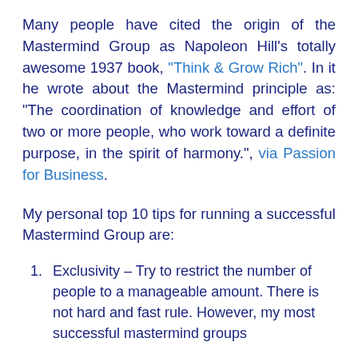Many people have cited the origin of the Mastermind Group as Napoleon Hill's totally awesome 1937 book, "Think & Grow Rich". In it he wrote about the Mastermind principle as: "The coordination of knowledge and effort of two or more people, who work toward a definite purpose, in the spirit of harmony.", via Passion for Business.
My personal top 10 tips for running a successful Mastermind Group are:
Exclusivity – Try to restrict the number of people to a manageable amount. There is not hard and fast rule. However, my most successful mastermind groups